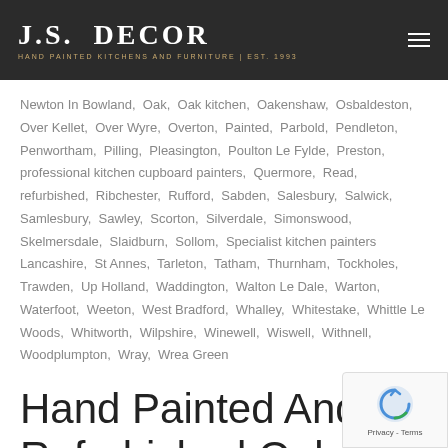J.S. DECOR — HAND PAINTED KITCHENS AND FURNITURE | EST. 1993
Newton In Bowland, Oak, Oak kitchen, Oakenshaw, Osbaldeston, Over Kellet, Over Wyre, Overton, Painted, Parbold, Pendleton, Penwortham, Pilling, Pleasington, Poulton Le Fylde, Preston, professional kitchen cupboard painters, Quermore, Read, refurbished, Ribchester, Rufford, Sabden, Salesbury, Salwick, Samlesbury, Sawley, Scorton, Silverdale, Simonswood, Skelmersdale, Slaidburn, Sollom, Specialist kitchen painters Lancashire, St Annes, Tarleton, Tatham, Thurnham, Tockholes, Trawden, Up Holland, Waddington, Walton Le Dale, Warton, Waterfoot, Weeton, West Bradford, Whalley, Whitestake, Whittle Le Woods, Whitworth, Wilpshire, Winewell, Wiswell, Withnell, Woodplumpton, Wray, Wrea Green
Hand Painted And Refurbished Oak